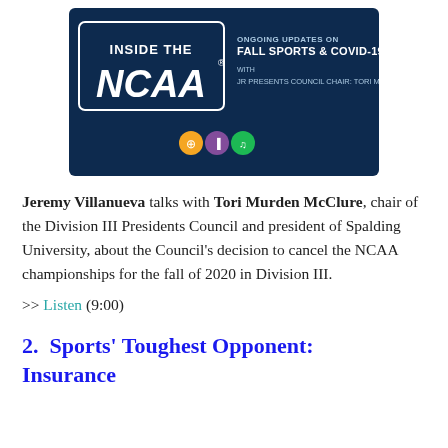[Figure (illustration): Inside the NCAA podcast cover image with dark blue background, showing 'INSIDE THE NCAA' logo on left, text 'ONGOING UPDATES ON FALL SPORTS & COVID-19' on right, podcast platform icons (orange, purple, green) at bottom center.]
Jeremy Villanueva talks with Tori Murden McClure, chair of the Division III Presidents Council and president of Spalding University, about the Council's decision to cancel the NCAA championships for the fall of 2020 in Division III.
>> Listen (9:00)
2.  Sports' Toughest Opponent: Insurance